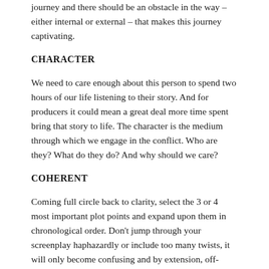journey and there should be an obstacle in the way – either internal or external – that makes this journey captivating.
CHARACTER
We need to care enough about this person to spend two hours of our life listening to their story. And for producers it could mean a great deal more time spent bring that story to life. The character is the medium through which we engage in the conflict. Who are they? What do they do? And why should we care?
COHERENT
Coming full circle back to clarity, select the 3 or 4 most important plot points and expand upon them in chronological order. Don't jump through your screenplay haphazardly or include too many twists, it will only become confusing and by extension, off-putting. The story, and your pitch, needs to